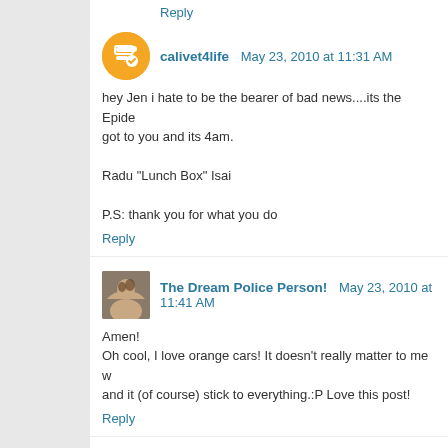Reply
calivet4life  May 23, 2010 at 11:31 AM
hey Jen i hate to be the bearer of bad news....its the Epide... got to you and its 4am.

Radu "Lunch Box" Isai

P.S: thank you for what you do
Reply
The Dream Police Person!  May 23, 2010 at 11:41 AM
Amen!
Oh cool, I love orange cars! It doesn't really matter to me w... and it (of course) stick to everything.:P Love this post!
Reply
Anonymous  May 23, 2010 at 11:45 AM
A girl of my own heart!! I dream of owning a not very practi... hates me.
Reply